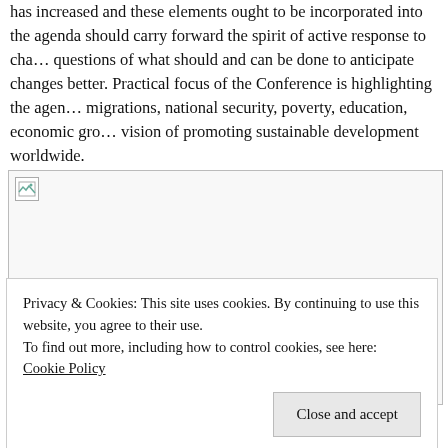has increased and these elements ought to be incorporated into the agenda should carry forward the spirit of active response to changes, questions of what should and can be done to anticipate changes better. Practical focus of the Conference is highlighting the agenda: migrations, national security, poverty, education, economic growth, vision of promoting sustainable development worldwide.
[Figure (photo): A broken/unloaded image placeholder with a small broken image icon in the top-left corner, shown as a bordered rectangle with light gray background.]
Privacy & Cookies: This site uses cookies. By continuing to use this website, you agree to their use.
To find out more, including how to control cookies, see here: Cookie Policy